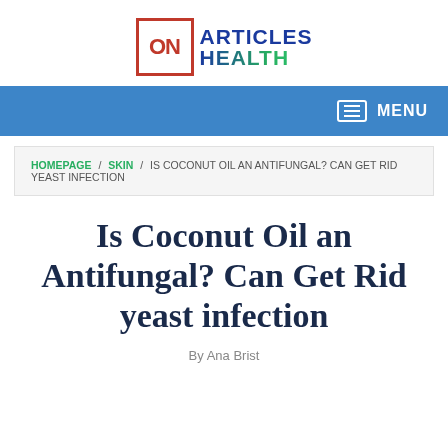[Figure (logo): Articles On Health logo with red box containing 'ON' and blue/green text 'ARTICLES HEALTH']
MENU
HOMEPAGE / SKIN / IS COCONUT OIL AN ANTIFUNGAL? CAN GET RID YEAST INFECTION
Is Coconut Oil an Antifungal? Can Get Rid yeast infection
By Ana Brist